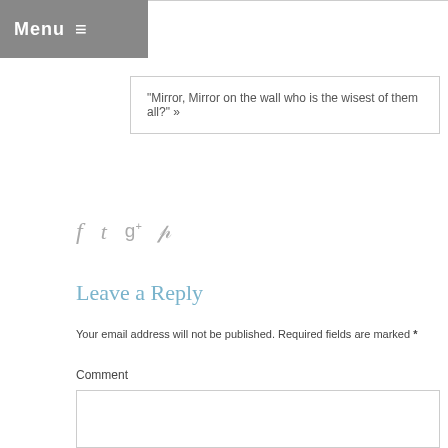Menu ≡
"Mirror, Mirror on the wall who is the wisest of them all?" »
[Figure (other): Social media icons: facebook (f), twitter (t), google+ (g+), pinterest (p)]
Leave a Reply
Your email address will not be published. Required fields are marked *
Comment